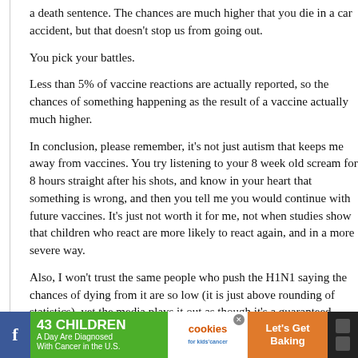a death sentence. The chances are much higher that you die in a car accident, but that doesn't stop us from going out.
You pick your battles.
Less than 5% of vaccine reactions are actually reported, so the chances of something happening as the result of a vaccine actually much higher.
In conclusion, please remember, it's not just autism that keeps me away from vaccines. You try listening to your 8 week old scream for 8 hours straight after his shots, and know in your heart that something is wrong, and then you tell me you would continue with future vaccines. It's just not worth it for me, not when studies show that children who react are more likely to react again, and in a more severe way.
Also, I won't trust the same people who push the H1N1 saying the chances of dying from it are so low (it is just above rounding of statistics), yet the media plays it out as though it's a guaranteed death sentence). As a pregnant woman, I refused the... read stories of women having 2nd and 3rd trimester
[Figure (infographic): Advertisement banner: '43 CHILDREN A Day Are Diagnosed With Cancer in the U.S.' with cookies for kids cancer logo and Let's Get Baking text on orange background]